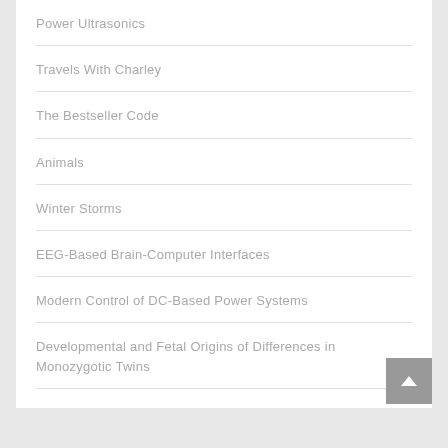Power Ultrasonics
Travels With Charley
The Bestseller Code
Animals
Winter Storms
EEG-Based Brain-Computer Interfaces
Modern Control of DC-Based Power Systems
Developmental and Fetal Origins of Differences in Monozygotic Twins
Microbial Electrochemical Technology